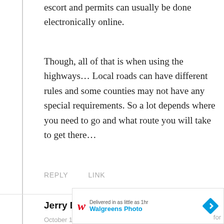escort and permits can usually be done electronically online.
Though, all of that is when using the highways… Local roads can have different rules and some counties may not have any special requirements. So a lot depends where you need to go and what route you will take to get there…
REPLY    LINK
Jerry Dycus
October 11, 2019, 6:04 pm
[Figure (screenshot): Walgreens Photo advertisement banner: 'Delivered in as little as 1hr, Walgreens Photo' with logo and navigation arrow icon]